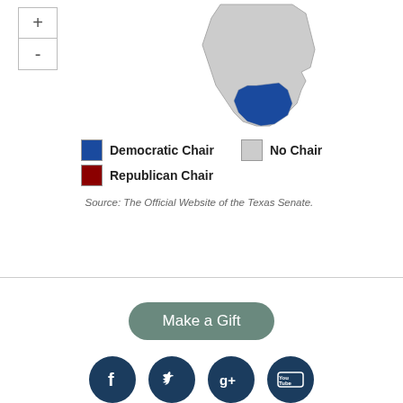[Figure (map): Map of Texas Senate districts with zoom controls. The highlighted region shows a district in blue (Democratic Chair). Map includes a + and - zoom control button on the upper left.]
Democratic Chair    No Chair
Republican Chair
Source: The Official Website of the Texas Senate.
[Figure (infographic): Make a Gift button (rounded green), social media icons (Facebook, Twitter, Google+, YouTube), and About | Contact navigation links]
TEXAS — The University of Texas at Austin